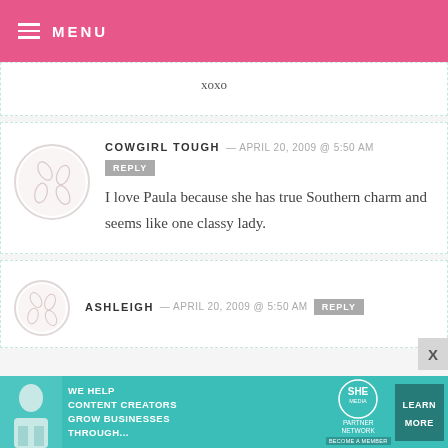MENU
xoxo
COWGIRL TOUGH — APRIL 20, 2009 @ 5:50 AM
REPLY
I love Paula because she has true Southern charm and seems like one classy lady.
ASHLEIGH — APRIL 20, 2009 @ 5:50 AM REPLY
[Figure (infographic): SHE Partner Network advertisement banner: WE HELP CONTENT CREATORS GROW BUSINESSES THROUGH... LEARN MORE / BECOME A MEMBER]